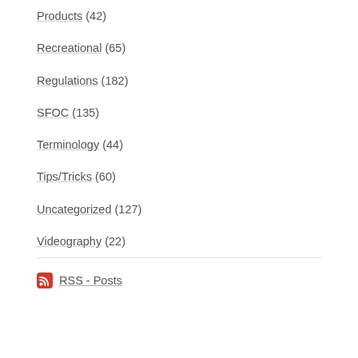Products (42)
Recreational (65)
Regulations (182)
SFOC (135)
Terminology (44)
Tips/Tricks (60)
Uncategorized (127)
Videography (22)
RSS - Posts